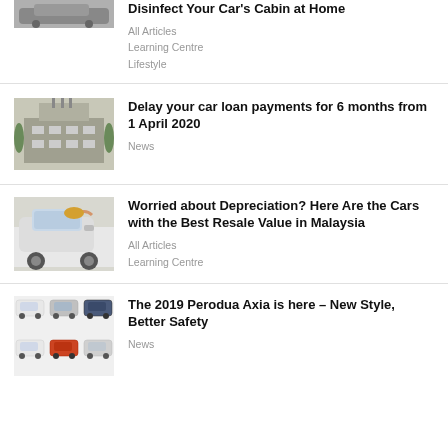[Figure (photo): Partial car image at top]
Disinfect Your Car's Cabin at Home
All Articles
Learning Centre
Lifestyle
[Figure (photo): Government building with Malaysia flag]
Delay your car loan payments for 6 months from 1 April 2020
News
[Figure (photo): Woman in car waving]
Worried about Depreciation? Here Are the Cars with the Best Resale Value in Malaysia
All Articles
Learning Centre
[Figure (photo): Grid of Perodua Axia car variants]
The 2019 Perodua Axia is here – New Style, Better Safety
News